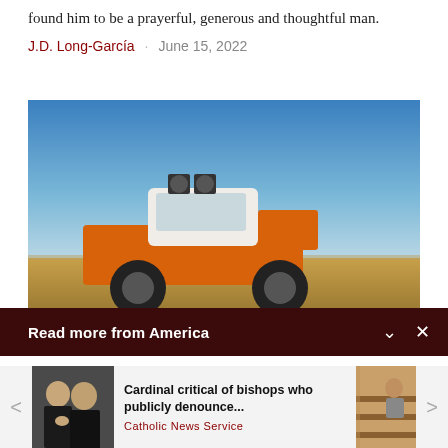found him to be a prayerful, generous and thoughtful man.
J.D. Long-García   June 15, 2022
[Figure (photo): An orange and white pickup truck with loudspeakers mounted on the cab, driving on a rural road under a blue sky with flat terrain in the background.]
Read more from America
[Figure (photo): Two older men in clerical black attire, appearing to be cardinals or bishops, in a serious discussion.]
Cardinal critical of bishops who publicly denounce...
Catholic News Service
[Figure (photo): People sitting in wooden church pews, partially visible on the right edge of the page.]